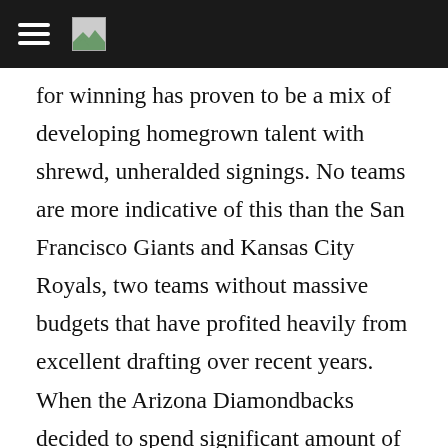[navigation bar with hamburger menu and image icon]
for winning has proven to be a mix of developing homegrown talent with shrewd, unheralded signings. No teams are more indicative of this than the San Francisco Giants and Kansas City Royals, two teams without massive budgets that have profited heavily from excellent drafting over recent years. When the Arizona Diamondbacks decided to spend significant amount of money on Zack Greinke and Tyler Clippard while acquiring the hefty contracts of Shelby Miller and Jean Segura this offseason, they surely did so with the intention of competing. However, one need not look far past 2015 to when the division-rival Padres (Kemp, Upton, Shields) and